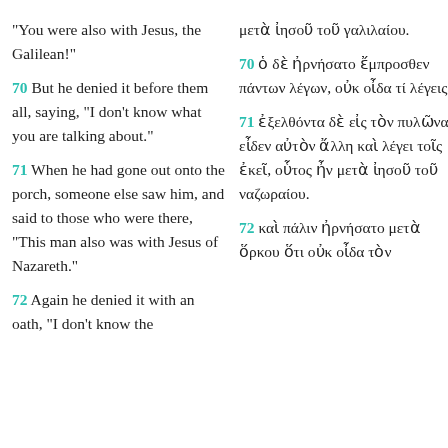"You were also with Jesus, the Galilean!"
μετὰ ἰησοῦ τοῦ γαλιλαίου.
70 But he denied it before them all, saying, "I don't know what you are talking about."
70 ὁ δὲ ἠρνήσατο ἔμπροσθεν πάντων λέγων, οὐκ οἶδα τί λέγεις.
71 When he had gone out onto the porch, someone else saw him, and said to those who were there, "This man also was with Jesus of Nazareth."
71 ἐξελθόντα δὲ εἰς τὸν πυλῶνα εἶδεν αὐτὸν ἄλλη καὶ λέγει τοῖς ἐκεῖ, οὗτος ἦν μετὰ ἰησοῦ τοῦ ναζωραίου.
72 Again he denied it with an oath, "I don't know the
72 καὶ πάλιν ἠρνήσατο μετὰ ὅρκου ὅτι οὐκ οἶδα τὸν